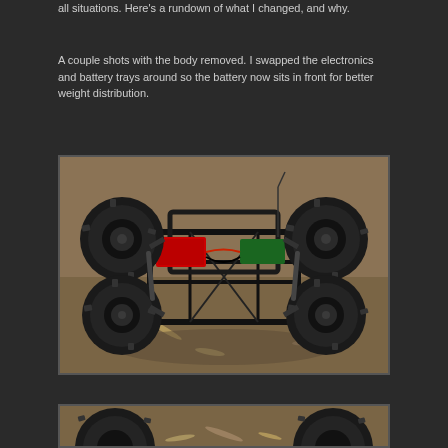all situations. Here's a rundown of what I changed, and why.
A couple shots with the body removed. I swapped the electronics and battery trays around so the battery now sits in front for better weight distribution.
[Figure (photo): Top-down view of an RC rock crawler chassis with body removed, showing four large off-road tires, roll cage frame, electronics, and wiring on a dirt/gravel surface.]
[Figure (photo): Partial view of RC crawler wheels and chassis from a lower angle, showing large off-road tires on a wood chip/dirt surface.]